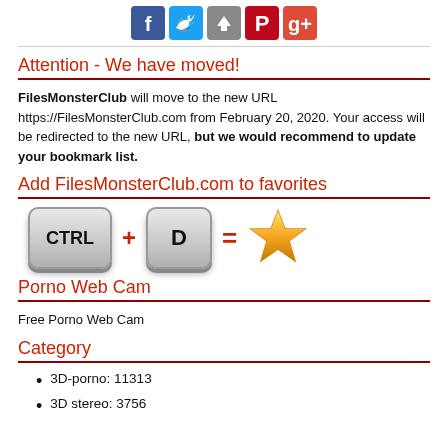[Figure (other): Social media share icons: Facebook, Twitter, Upload/Share, Pinterest, Google+]
Attention - We have moved!
FilesMonsterClub will move to the new URL https://FilesMonsterClub.com from February 20, 2020. Your access will be redirected to the new URL, but we would recommend to update your bookmark list.
Add FilesMonsterClub.com to favorites
[Figure (infographic): CTRL + D = star (favorites shortcut illustration with keyboard keys and a gold star)]
Porno Web Cam
Free Porno Web Cam
Category
3D-porno: 11313
3D stereo: 3756